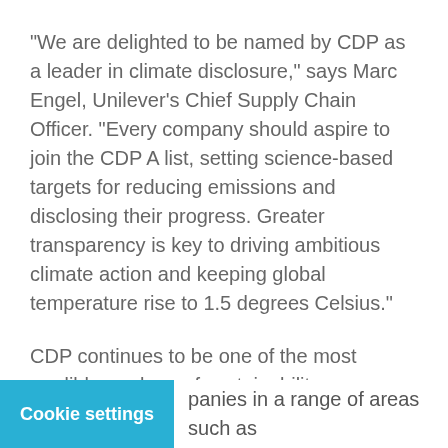“We are delighted to be named by CDP as a leader in climate disclosure,” says Marc Engel, Unilever’s Chief Supply Chain Officer. “Every company should aspire to join the CDP A list, setting science-based targets for reducing emissions and disclosing their progress. Greater transparency is key to driving ambitious climate action and keeping global temperature rise to 1.5 degrees Celsius.”
CDP continues to be one of the most credible markers of sustainability leadership. Of the 8,000+ companies that reported to CDP on their climate impacts in 2019, only 179 – just 2% – earned a place on the A List. These also include Nestlé, L’Oréal, Johnson & Johnson and Walmart.
panies in a range of areas such as